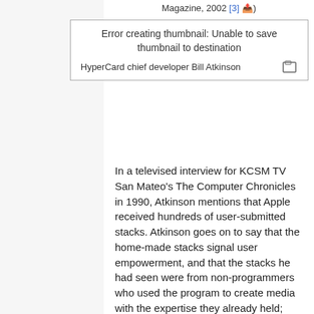Magazine, 2002 [3]
[Figure (other): Error creating thumbnail box with caption: HyperCard chief developer Bill Atkinson]
HyperCard chief developer Bill Atkinson
In a televised interview for KCSM TV San Mateo's The Computer Chronicles in 1990, Atkinson mentions that Apple received hundreds of user-submitted stacks. Atkinson goes on to say that the home-made stacks signal user empowerment, and that the stacks he had seen were from non-programmers who used the program to create media with the expertise they already held; labors of passion. Atkinson says that stacks "usually come from something that they do... something that they were interested in before HyperCard came along, and HyperCard just let them express it." Dr.Benkler limns this same compulsion to share knowledge in his work, "The Wealth Of Networks" , only Benkler's analysis describes the way multiple users contribute content to the internet, thus adding to the cultural store of